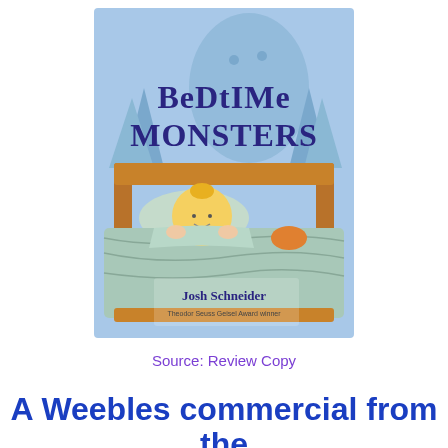[Figure (illustration): Book cover of 'Bedtime Monsters' by Josh Schneider. Illustrated children's book cover showing a child with yellow hair peeking over blankets in a wooden bed, with a large ghost-like monster silhouette and dark trees in a blue background. Title text reads 'BeDtIMe MONSTERS' in dark blue stylized font. Author name 'Josh Schneider' and 'Theodor Seuss Geisel Award winner' appear at bottom.]
Source: Review Copy
A Weebles commercial from the